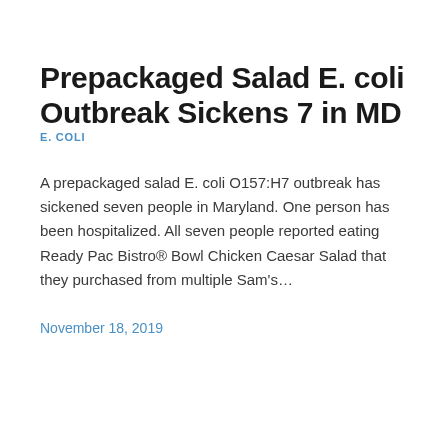Prepackaged Salad E. coli Outbreak Sickens 7 in MD
E. COLI
A prepackaged salad E. coli O157:H7 outbreak has sickened seven people in Maryland. One person has been hospitalized. All seven people reported eating Ready Pac Bistro® Bowl Chicken Caesar Salad that they purchased from multiple Sam's…
November 18, 2019